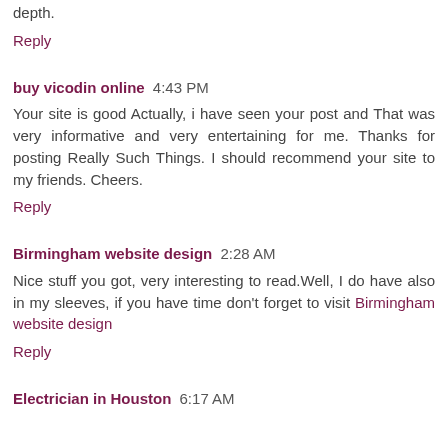depth.
Reply
buy vicodin online  4:43 PM
Your site is good Actually, i have seen your post and That was very informative and very entertaining for me. Thanks for posting Really Such Things. I should recommend your site to my friends. Cheers.
Reply
Birmingham website design  2:28 AM
Nice stuff you got, very interesting to read.Well, I do have also in my sleeves, if you have time don't forget to visit Birmingham website design
Reply
Electrician in Houston  6:17 AM